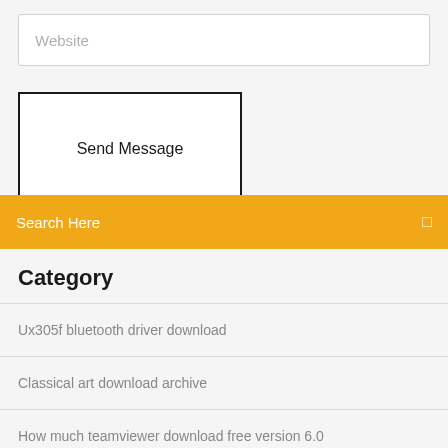Website
Send Message
Search Here
Category
Ux305f bluetooth driver download
Classical art download archive
How much teamviewer download free version 6.0